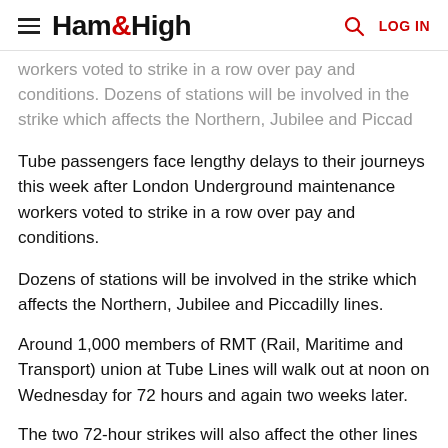Ham&High
workers voted to strike in a row over pay and conditions. Dozens of stations will be involved in the strike which affects the Northern, Jubilee and Piccad
Tube passengers face lengthy delays to their journeys this week after London Underground maintenance workers voted to strike in a row over pay and conditions.
Dozens of stations will be involved in the strike which affects the Northern, Jubilee and Piccadilly lines.
Around 1,000 members of RMT (Rail, Maritime and Transport) union at Tube Lines will walk out at noon on Wednesday for 72 hours and again two weeks later.
The two 72-hour strikes will also affect the other lines